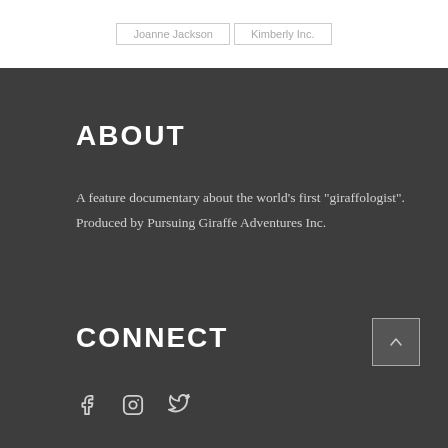| Joanne Jackson | Kimberly Inc. |
ABOUT
A feature documentary about the world’s first “giraffologist”. Produced by Pursuing Giraffe Adventures Inc.
CONNECT
[Figure (other): Social media icons: Facebook, Instagram, Twitter]